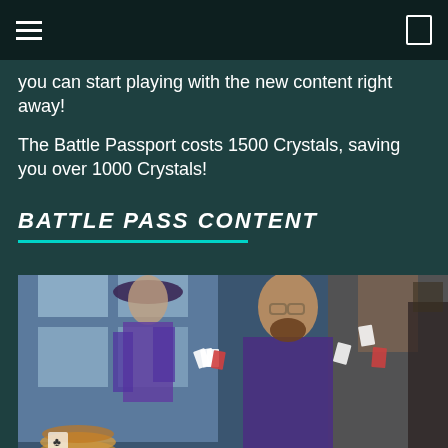you can start playing with the new content right away!
The Battle Passport costs 1500 Crystals, saving you over 1000 Crystals!
BATTLE PASS CONTENT
[Figure (illustration): Game artwork showing two fantasy/card-game themed characters in an indoor setting with playing cards and chips. One character wears a hat and holds cards, the other is a bearded man in an ornate coat.]